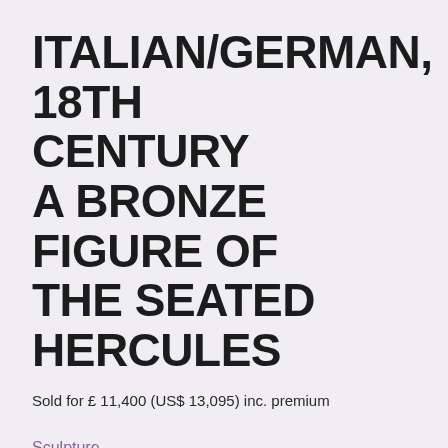ITALIAN/GERMAN, 18TH CENTURY A BRONZE FIGURE OF THE SEATED HERCULES
Sold for £ 11,400 (US$ 13,095) inc. premium
Sculpture
15 Apr 2008, 14:00 BST
London, New Bond Street
ITALIAN/GERMAN, 18TH CENTURY
A BRONZE FIGURE OF THE SEATED HERCULES
brown patina, mounted on a later verde-antico